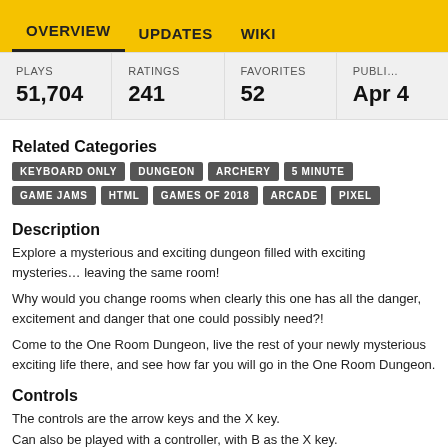OVERVIEW  UPDATES  WIKI
| PLAYS | RATINGS | FAVORITES | PUBLI… |
| --- | --- | --- | --- |
| 51,704 | 241 | 52 | Apr 4 |
Related Categories
KEYBOARD ONLY  DUNGEON  ARCHERY  5 MINUTE  GAME JAMS  HTML  GAMES OF 2018  ARCADE  PIXEL
Description
Explore a mysterious and exciting dungeon filled with exciting mysteries... leaving the same room!
Why would you change rooms when clearly this one has all the danger, excitement and danger that one could possibly need?!
Come to the One Room Dungeon, live the rest of your newly mysterious exciting life there, and see how far you will go in the One Room Dungeon.
Controls
The controls are the arrow keys and the X key.
Can also be played with a controller, with B as the X key.